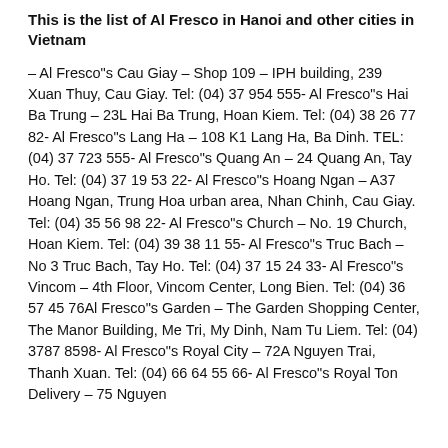This is the list of Al Fresco in Hanoi and other cities in Vietnam
– Al Fresco"s Cau Giay – Shop 109 – IPH building, 239 Xuan Thuy, Cau Giay. Tel: (04) 37 954 555- Al Fresco"s Hai Ba Trung – 23L Hai Ba Trung, Hoan Kiem. Tel: (04) 38 26 77 82- Al Fresco"s Lang Ha – 108 K1 Lang Ha, Ba Dinh. TEL: (04) 37 723 555- Al Fresco"s Quang An – 24 Quang An, Tay Ho. Tel: (04) 37 19 53 22- Al Fresco"s Hoang Ngan – A37 Hoang Ngan, Trung Hoa urban area, Nhan Chinh, Cau Giay. Tel: (04) 35 56 98 22- Al Fresco"s Church – No. 19 Church, Hoan Kiem. Tel: (04) 39 38 11 55- Al Fresco"s Truc Bach – No 3 Truc Bach, Tay Ho. Tel: (04) 37 15 24 33- Al Fresco"s Vincom – 4th Floor, Vincom Center, Long Bien. Tel: (04) 36 57 45 76Al Fresco"s Garden – The Garden Shopping Center, The Manor Building, Me Tri, My Dinh, Nam Tu Liem. Tel: (04) 3787 8598- Al Fresco"s Royal City – 72A Nguyen Trai, Thanh Xuan. Tel: (04) 66 64 55 66- Al Fresco"s Royal Ton Delivery – 75 Nguyen